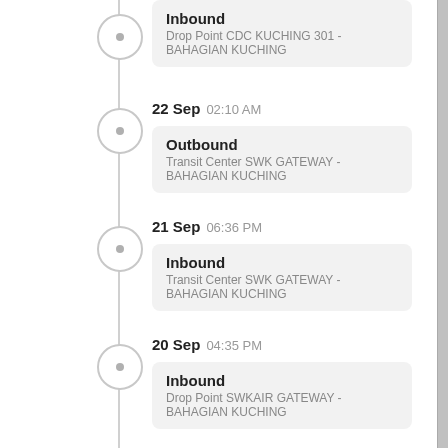Inbound — Drop Point CDC KUCHING 301 - BAHAGIAN KUCHING
22 Sep 02:10 AM — Outbound — Transit Center SWK GATEWAY - BAHAGIAN KUCHING
21 Sep 06:36 PM — Inbound — Transit Center SWK GATEWAY - BAHAGIAN KUCHING
20 Sep 04:35 PM — Inbound — Drop Point SWKAIR GATEWAY - BAHAGIAN KUCHING
20 Sep 10:58 AM — Inbound